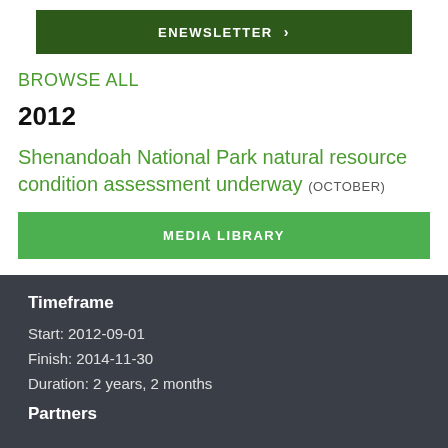ENEWSLETTER >
BROWSE ALL
2012
Shenandoah National Park natural resource condition assessment underway (OCTOBER)
MEDIA LIBRARY
Timeframe
Start: 2012-09-01
Finish: 2014-11-30
Duration: 2 years, 2 months
Partners